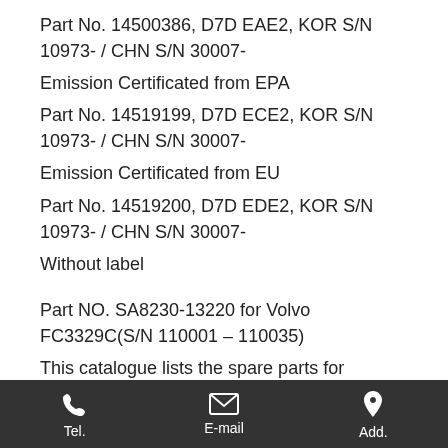Part No. 14500386, D7D EAE2, KOR S/N 10973- / CHN S/N 30007-
Emission Certificated from EPA
Part No. 14519199, D7D ECE2, KOR S/N 10973- / CHN S/N 30007-
Emission Certificated from EU
Part No. 14519200, D7D EDE2, KOR S/N 10973- / CHN S/N 30007-
Without label
Part NO. SA8230-13220 for Volvo FC3329C(S/N 110001 – 110035)
This catalogue lists the spare parts for Excavator FC3329C
BASIC MACHINE
Tel.   E-mail   Add.